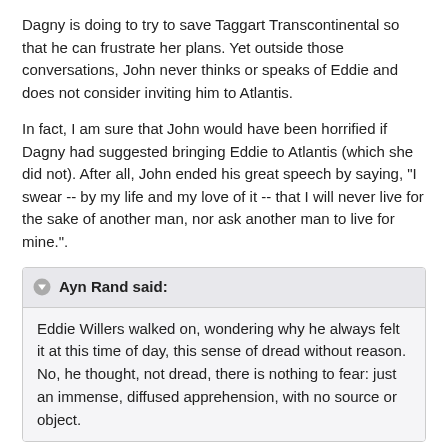Dagny is doing to try to save Taggart Transcontinental so that he can frustrate her plans. Yet outside those conversations, John never thinks or speaks of Eddie and does not consider inviting him to Atlantis.
In fact, I am sure that John would have been horrified if Dagny had suggested bringing Eddie to Atlantis (which she did not). After all, John ended his great speech by saying, "I swear -- by my life and my love of it -- that I will never live for the sake of another man, nor ask another man to live for mine.".
Ayn Rand said:
Eddie Willers walked on, wondering why he always felt it at this time of day, this sense of dread without reason.  No, he thought, not dread, there is nothing to fear: just an immense, diffused apprehension, with no source or object.
This shows that Eddie's sense of life is that the universe is malevolent. Also see the part about the Oak Tree on page 13.